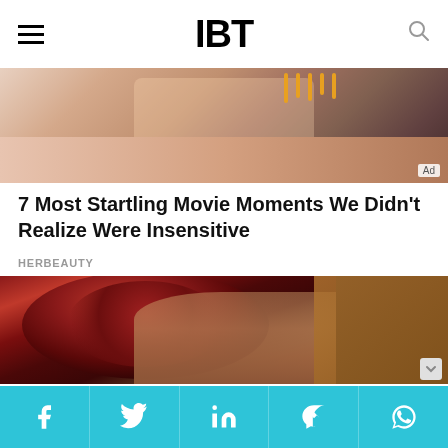IBT
[Figure (photo): Advertisement banner image showing a birthday cake scene with candles and pink decorations]
7 Most Startling Movie Moments We Didn't Realize Were Insensitive
HERBEAUTY
[Figure (photo): Woman with dramatic makeup and red roses in her dark hair, wearing red lipstick, close-up portrait]
Social sharing bar with Facebook, Twitter, LinkedIn, Messenger, WhatsApp icons